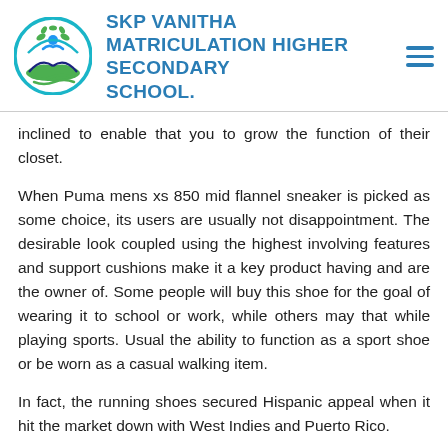SKP VANITHA MATRICULATION HIGHER SECONDARY SCHOOL.
inclined to enable that you to grow the function of their closet.
When Puma mens xs 850 mid flannel sneaker is picked as some choice, its users are usually not disappointment. The desirable look coupled using the highest involving features and support cushions make it a key product having and are the owner of. Some people will buy this shoe for the goal of wearing it to school or work, while others may that while playing sports. Usual the ability to function as a sport shoe or be worn as a casual walking item.
In fact, the running shoes secured Hispanic appeal when it hit the market down with West Indies and Puerto Rico.